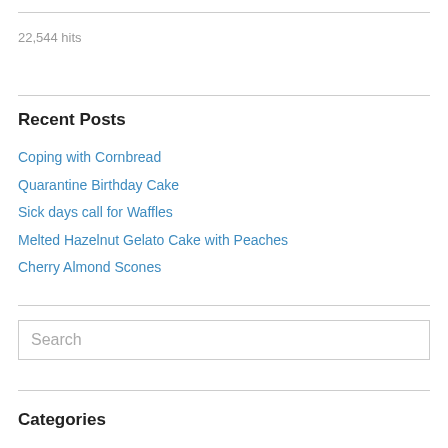22,544 hits
Recent Posts
Coping with Cornbread
Quarantine Birthday Cake
Sick days call for Waffles
Melted Hazelnut Gelato Cake with Peaches
Cherry Almond Scones
Search
Categories